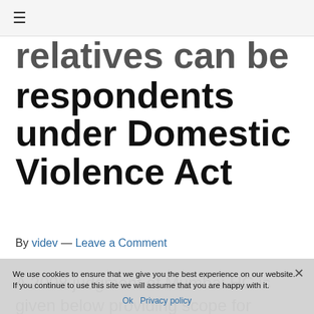≡
relatives can be respondents under Domestic Violence Act
By videv — Leave a Comment
A 2008 judgment of Mumbai HC is given below providing scope for female relatives of husband/man to be respondents under s(q) of PWDVA. However, it does not mean that all
We use cookies to ensure that we give you the best experience on our website. If you continue to use this site we will assume that you are happy with it. Ok  Privacy policy